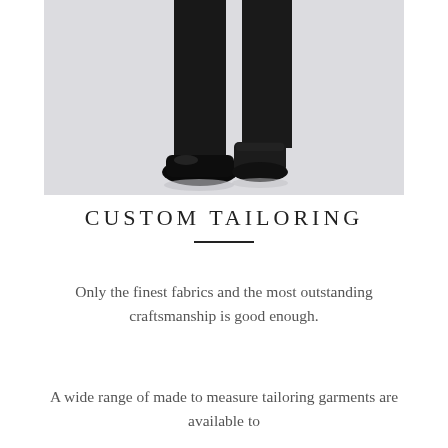[Figure (photo): Lower body of a person wearing black slim-fit trousers with one black patent leather Oxford shoe and one dark Chelsea boot, photographed against a light grey/white background.]
CUSTOM TAILORING
Only the finest fabrics and the most outstanding craftsmanship is good enough.
A wide range of made to measure tailoring garments are available to